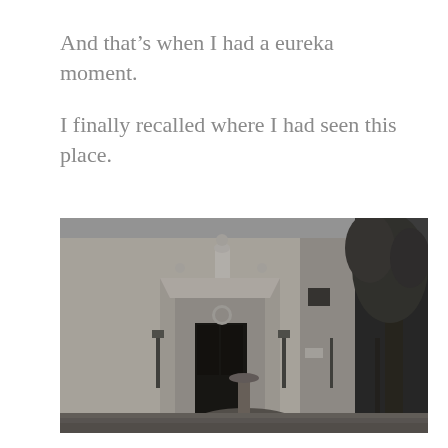And that’s when I had a eureka moment.
I finally recalled where I had seen this place.
[Figure (photo): Black and white photograph of a historic church or building facade with ornate baroque doorway, a statue in a niche above the entrance, street lamps on either side, a fountain in the foreground, and a large tree on the right side of the image. The square has a cobblestone pavement.]